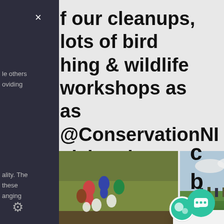f our cleanups, lots of bird hing & wildlife workshops as as @ConservationNI giving ds workshop on horticulture.
le others
oviding
Qu
ar
[Figure (photo): People doing a cleanup on a hillside, collecting bags of waste]
[Figure (photo): Group of people walking along a path in a field]
[Figure (photo): Landscape with sheep grazing in a field]
[Figure (photo): Two people carrying bags during a cleanup near a red gate]
Got any questions? I'm happy to help.
ality. The
these
anging